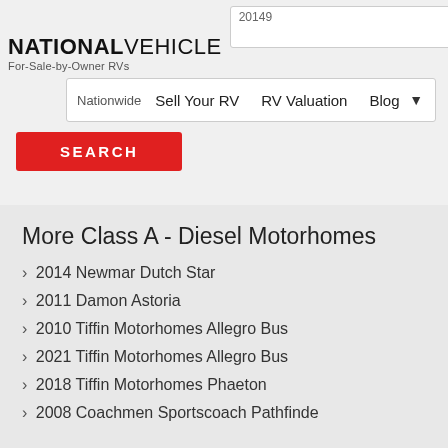NATIONAL VEHICLE - For-Sale-by-Owner RVs
20149
Nationwide | Sell Your RV | RV Valuation | Blog
SEARCH
More Class A - Diesel Motorhomes
2014 Newmar Dutch Star
2011 Damon Astoria
2010 Tiffin Motorhomes Allegro Bus
2021 Tiffin Motorhomes Allegro Bus
2018 Tiffin Motorhomes Phaeton
2008 Coachmen Sportscoach Pathfinde